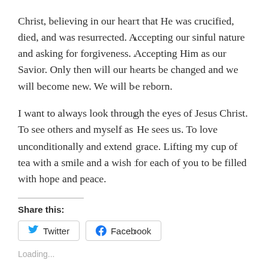Christ, believing in our heart that He was crucified, died, and was resurrected. Accepting our sinful nature and asking for forgiveness. Accepting Him as our Savior. Only then will our hearts be changed and we will become new. We will be reborn.
I want to always look through the eyes of Jesus Christ. To see others and myself as He sees us. To love unconditionally and extend grace. Lifting my cup of tea with a smile and a wish for each of you to be filled with hope and peace.
Share this:
Twitter  Facebook
Loading...